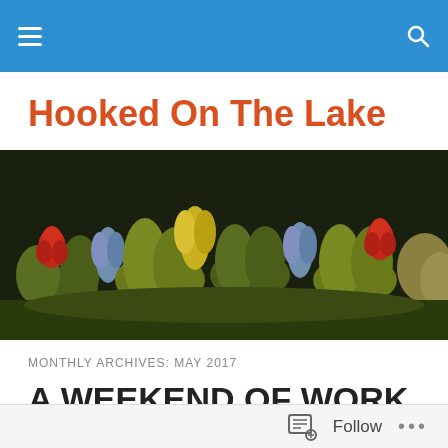Navigation bar with menu and search icons
Hooked On The Lake
[Figure (photo): A close-up photograph of a hooked rug featuring colorful tulip and floral designs on a dark background. Red, blue, yellow, and olive green flowers and leaves are visible against a dark green/black background.]
MONTHLY ARCHIVES: MAY 2017
A WEEKEND OF WORK (AND FUN!!!)...
Follow button and options in footer bar